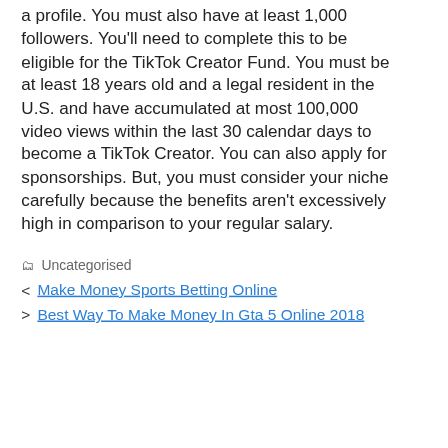a profile. You must also have at least 1,000 followers. You'll need to complete this to be eligible for the TikTok Creator Fund. You must be at least 18 years old and a legal resident in the U.S. and have accumulated at most 100,000 video views within the last 30 calendar days to become a TikTok Creator. You can also apply for sponsorships. But, you must consider your niche carefully because the benefits aren't excessively high in comparison to your regular salary.
Uncategorised
< Make Money Sports Betting Online
> Best Way To Make Money In Gta 5 Online 2018